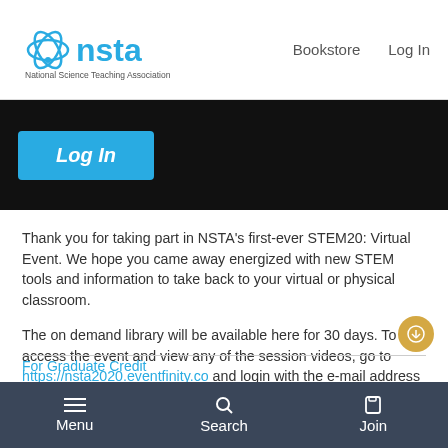[Figure (logo): NSTA National Science Teaching Association logo with teal/blue atom icon and text]
Bookstore   Log In
[Figure (screenshot): Dark banner with a cyan 'Log In' button on the left side]
Thank you for taking part in NSTA’s first-ever STEM20: Virtual Event. We hope you came away energized with new STEM tools and information to take back to your virtual or physical classroom.
The on demand library will be available here for 30 days. To access the event and view any of the session videos, go to https://nsta2020.eventfinity.co and login with the e-mail address you used to register for STEM20: Virtual Event.
For Graduate Credit
Menu   Search   Join